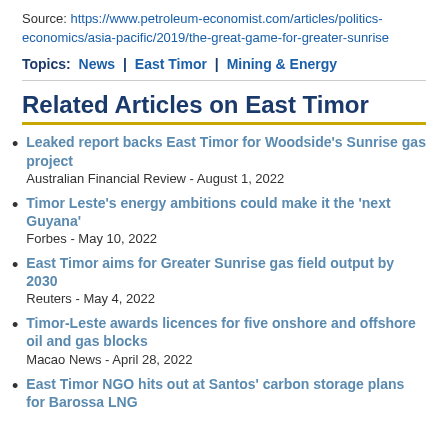Source: https://www.petroleum-economist.com/articles/politics-economics/asia-pacific/2019/the-great-game-for-greater-sunrise
Topics:  News  |  East Timor  |  Mining & Energy
Related Articles on East Timor
Leaked report backs East Timor for Woodside's Sunrise gas project
Australian Financial Review - August 1, 2022
Timor Leste's energy ambitions could make it the 'next Guyana'
Forbes - May 10, 2022
East Timor aims for Greater Sunrise gas field output by 2030
Reuters - May 4, 2022
Timor-Leste awards licences for five onshore and offshore oil and gas blocks
Macao News - April 28, 2022
East Timor NGO hits out at Santos' carbon storage plans for Barossa LNG